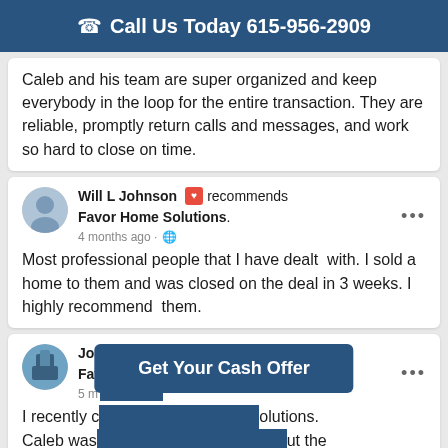Call Us Today 615-956-2909
Caleb and his team are super organized and keep everybody in the loop for the entire transaction. They are reliable, promptly return calls and messages, and work so hard to close on time.
Will L Johnson recommends Favor Home Solutions. 4 months ago
Most professional people that I have dealt with. I sold a home to them and was closed on the deal in 3 weeks. I highly recommend them.
Johnathan Barringer recommends Favor Home Solutions. 5 months ago
I recently contacted Favor Home Solutions. Caleb was ... about the ...
Get Your Cash Offer